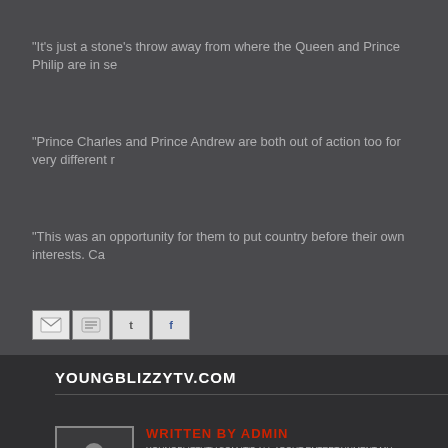"It's just a stone's throw away from where the Queen and Prince Philip are in se
"Prince Charles and Prince Andrew are both out of action too for very different r
"This was an opportunity for them to put country before their own interests. Ca
[Figure (other): Social share buttons: Email, BlogThis, Twitter, Facebook]
YOUNGBLIZZYTV.COM
[Figure (other): Author avatar placeholder showing silhouette of person in suit]
WRITTEN BY ADMIN
YOUNGBLIZZYTV.COM IT'S ALL ABOUT ENTERTAINMENT MU... WWW.YOUNGBLIZZYMUSIC.COM WWW.YOUNGBLIZZO...